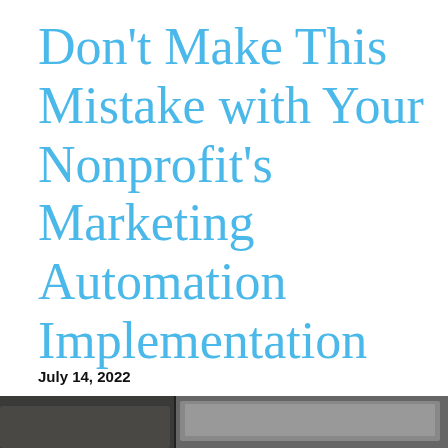Don't Make This Mistake with Your Nonprofit's Marketing Automation Implementation
July 14, 2022
[Figure (photo): Partial bottom edge of a photo showing a dark background with what appears to be a laptop or tablet screen]